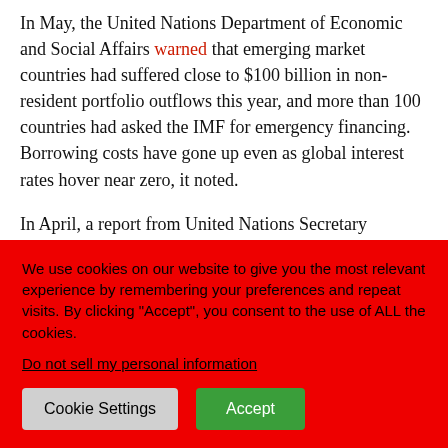In May, the United Nations Department of Economic and Social Affairs warned that emerging market countries had suffered close to $100 billion in non-resident portfolio outflows this year, and more than 100 countries had asked the IMF for emergency financing. Borrowing costs have gone up even as global interest rates hover near zero, it noted.
In April, a report from United Nations Secretary General warned that low-and middle-income countries are highly vulnerable to debt crisis and along with it the domino effect of
We use cookies on our website to give you the most relevant experience by remembering your preferences and repeat visits. By clicking "Accept", you consent to the use of ALL the cookies.
Do not sell my personal information
Cookie Settings | Accept